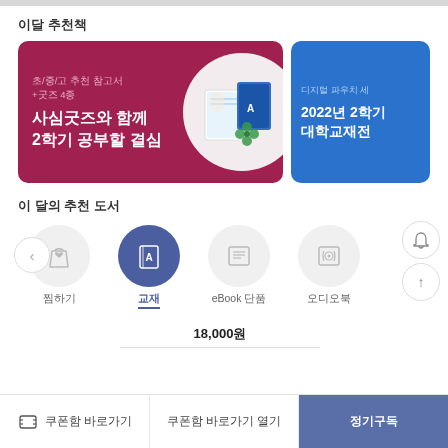이달 추천책
[Figure (illustration): Promotional banner: dark red/maroon background with Korean text '사심굿즈와 함께 2학기 공부할 결심' and product image of stationery/goods in a white circle]
[Figure (illustration): Promotional banner: blue background with Korean text '2022년 2학기 대학교재전' and partial text '디지털 파우치 세']
이 달의 추천 도서
[Figure (infographic): Icon navigation row with shopping bag, book (active/highlighted), document, audiobook icons; left arrow nav button; bell and up arrow buttons on right]
18,000원
쿠폰함 바로가기
쿠폰함 바로가기 열기
정기구독